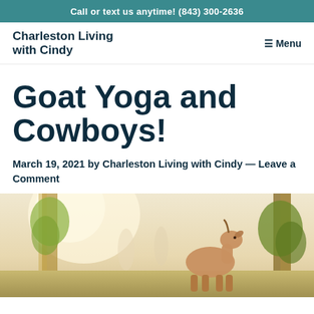Call or text us anytime! (843) 300-2636
Charleston Living with Cindy
≡ Menu
Goat Yoga and Cowboys!
March 19, 2021 by Charleston Living with Cindy — Leave a Comment
[Figure (photo): Outdoor photo showing a goat looking up among trees with bright sunlight, partial view cropped at bottom of page]